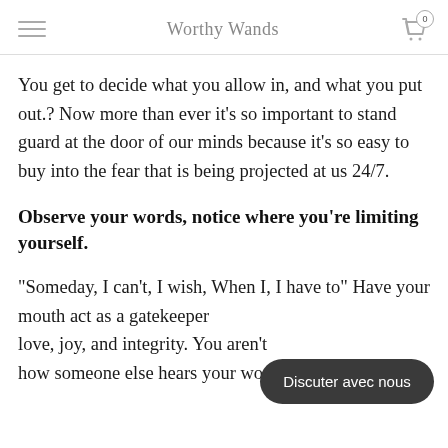Worthy Wands
You get to decide what you allow in, and what you put out.? Now more than ever it’s so important to stand guard at the door of our minds because it’s so easy to buy into the fear that is being projected at us 24/7.
Observe your words, notice where you’re limiting yourself.
“Someday, I can’t, I wish, When I, I have to” Have your mouth act as a gatekeeper and only allow love, joy, and integrity. You aren’t responsible how someone else hears your words if you say it